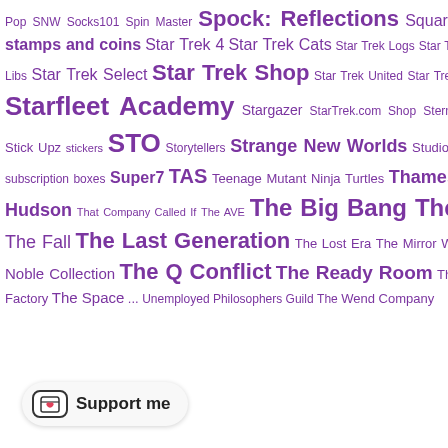Pop SNW Socks101 Spin Master Spock: Reflections Square Enix stamps and coins Star Trek 4 Star Trek Cats Star Trek Logs Star Trek Mad Libs Star Trek Select Star Trek Shop Star Trek United Star Trek Wines Starfleet Academy Stargazer StarTrek.com Shop Stern Pinball Stick Upz stickers STO Storytellers Strange New Worlds Studio Oxmox subscription boxes Super7 TAS Teenage Mutant Ninja Turtles Thames and Hudson That Company Called If The AVE The Big Bang Theory The Fall The Last Generation The Lost Era The Mirror War The Noble Collection The Q Conflict The Ready Room The Robe Factory The Space ... Unemployed Philosophers Guild The Wend Company
No comments:
Follow
Newer Post
[Figure (other): Beam Up Star Trek banner/logo with dark background and stylized text]